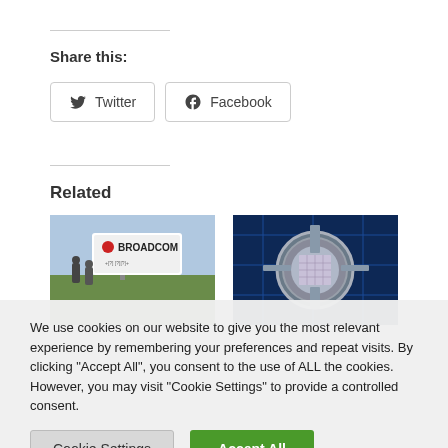Share this:
Twitter  Facebook
Related
[Figure (photo): Broadcom company sign with people walking nearby on a grassy area]
[Figure (photo): Close-up of a metallic semiconductor chip or electronic component on a blue circuit board]
We use cookies on our website to give you the most relevant experience by remembering your preferences and repeat visits. By clicking "Accept All", you consent to the use of ALL the cookies. However, you may visit "Cookie Settings" to provide a controlled consent.
Cookie Settings  Accept All